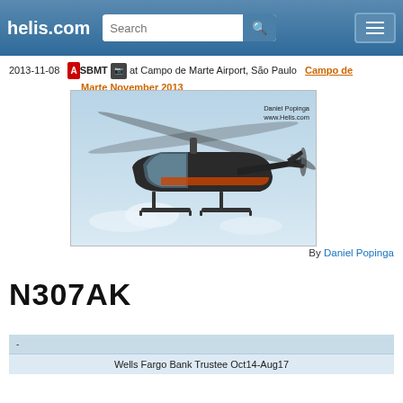helis.com
2013-11-08  ASBMT  at Campo de Marte Airport, São Paulo  Campo de Marte November 2013
[Figure (photo): Helicopter in flight at Campo de Marte Airport, São Paulo. Photo credit: Daniel Popinga, www.Helis.com]
By Daniel Popinga
N307AK
| - |
| --- |
| Wells Fargo Bank Trustee Oct14-Aug17 |